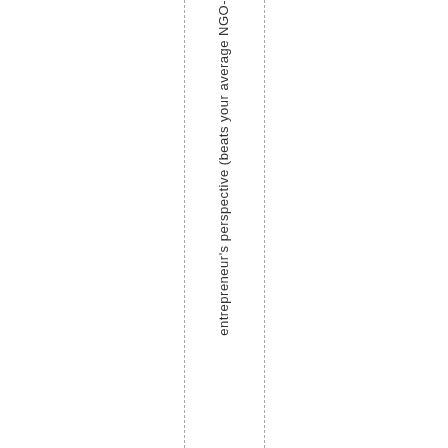entrepreneur's perspective (beats your average NGO-